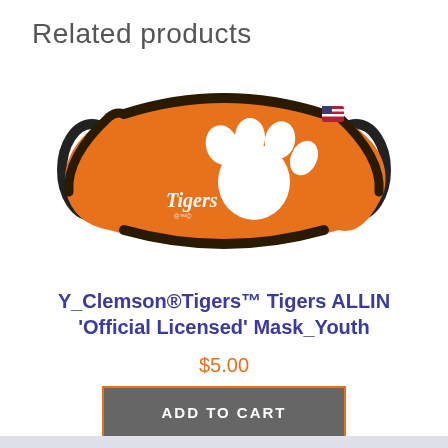Related products
[Figure (photo): Orange Clemson Tigers face mask with white paw print logo and 'Tigers' script, black elastic ear loops, shown on white background]
Y_Clemson®Tigers™ Tigers ALLIN 'Official Licensed' Mask_Youth
$5.00
ADD TO CART